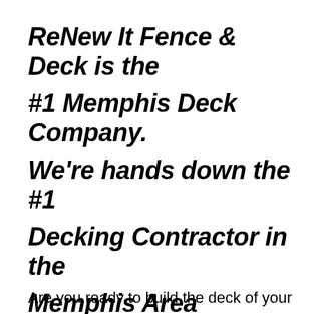ReNew It Fence & Deck is the #1 Memphis Deck Company. We're hands down the #1 Decking Contractor in the Memphis Area
Are you ready to build the deck of your